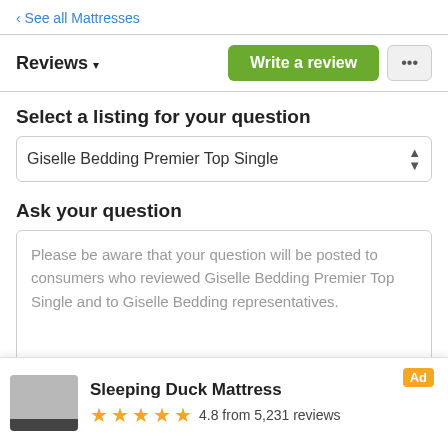‹ See all Mattresses
Reviews ▾
Write a review
Select a listing for your question
Giselle Bedding Premier Top Single
Ask your question
Please be aware that your question will be posted to consumers who reviewed Giselle Bedding Premier Top Single and to Giselle Bedding representatives.
Sleeping Duck Mattress  Ad  4.8 from 5,231 reviews